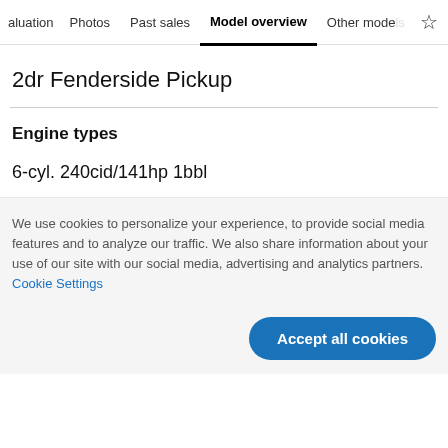aluation  Photos  Past sales  Model overview  Other models
2dr Fenderside Pickup
Engine types
6-cyl. 240cid/141hp 1bbl
We use cookies to personalize your experience, to provide social media features and to analyze our traffic. We also share information about your use of our site with our social media, advertising and analytics partners. Cookie Settings
Accept all cookies